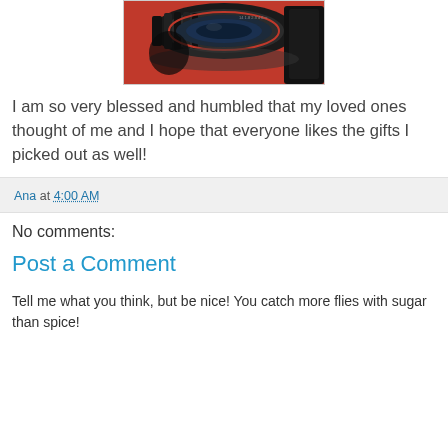[Figure (photo): Close-up photo of a camera lens on a red/orange surface, partially cropped at top]
I am so very blessed and humbled that my loved ones thought of me and I hope that everyone likes the gifts I picked out as well!
Ana at 4:00 AM
No comments:
Post a Comment
Tell me what you think, but be nice! You catch more flies with sugar than spice!